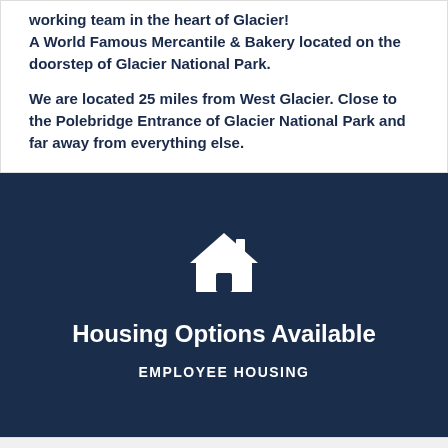working team in the heart of Glacier! A World Famous Mercantile & Bakery located on the doorstep of Glacier National Park.
We are located 25 miles from West Glacier. Close to the Polebridge Entrance of Glacier National Park and far away from everything else.
[Figure (illustration): White house/home icon on dark navy background]
Housing Options Available
EMPLOYEE HOUSING